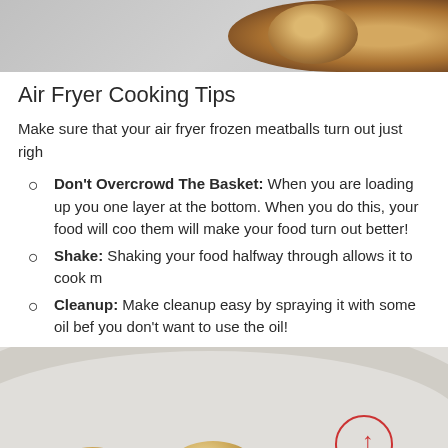[Figure (photo): Top portion of a photo showing meatballs in an air fryer basket, cropped at top of page]
Air Fryer Cooking Tips
Make sure that your air fryer frozen meatballs turn out just righ
Don't Overcrowd The Basket: When you are loading up you one layer at the bottom. When you do this, your food will coo them will make your food turn out better!
Shake: Shaking your food halfway through allows it to cook m
Cleanup: Make cleanup easy by spraying it with some oil bef you don't want to use the oil!
[Figure (photo): Photo of cooked meatballs in a white ceramic bowl, bottom portion of page]